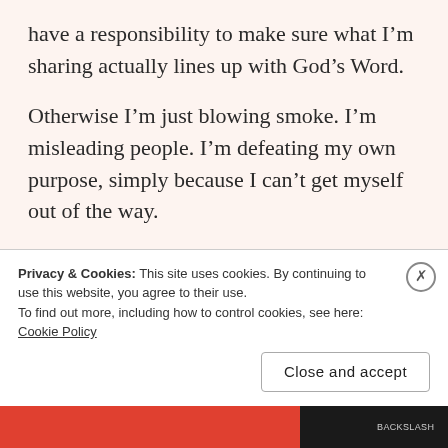have a responsibility to make sure what I’m sharing actually lines up with God’s Word.
Otherwise I’m just blowing smoke. I’m misleading people. I’m defeating my own purpose, simply because I can’t get myself out of the way.
So how do I do that? How do I make sure what I’m teaching is actually helping people instead of confusing them or leading them away from God? Well, first off, you need to know what you’re teaching. You need to know the Bible if you’re going
Privacy & Cookies: This site uses cookies. By continuing to use this website, you agree to their use.
To find out more, including how to control cookies, see here: Cookie Policy
Close and accept